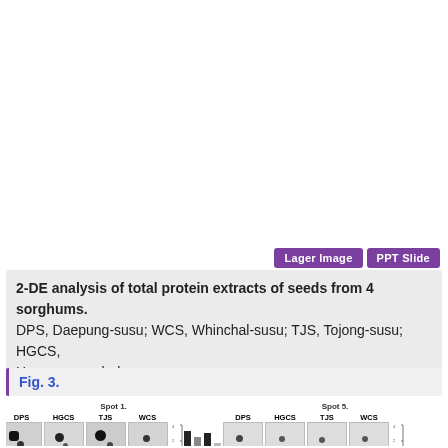[Figure (other): Upper portion of page is blank/white, part of a figure panel not visible in this crop.]
2-DE analysis of total protein extracts of seeds from 4 sorghums. DPS, Daepung-susu; WCS, Whinchal-susu; TJS, Tojong-susu; HGCS, Hwanggeumchal-susu.
Fig. 3.
[Figure (photo): Bottom strip showing gel spot images for DPS, HGCS, TJS, WCS labeled 'Spot 1.' with a mini bar chart, and a second set for DPS, HGCS, TJS, WCS labeled 'Spot 5.' with another mini bar chart.]